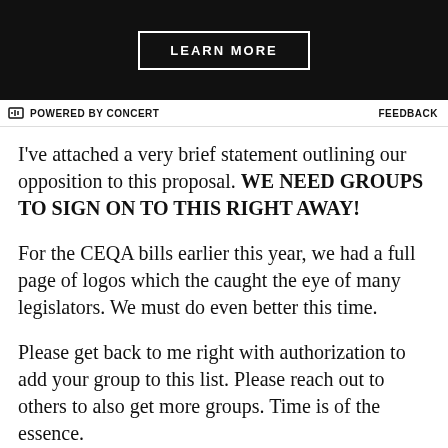[Figure (other): Black banner advertisement with 'LEARN MORE' button in white text with white border]
POWERED BY CONCERT    FEEDBACK
I've attached a very brief statement outlining our opposition to this proposal. WE NEED GROUPS TO SIGN ON TO THIS RIGHT AWAY!
For the CEQA bills earlier this year, we had a full page of logos which the caught the eye of many legislators. We must do even better this time.
Please get back to me right with authorization to add your group to this list. Please reach out to others to also get more groups. Time is of the essence.
[Figure (logo): Curbed Los Angeles logo — house-shaped rounded rectangle with CURBED text and LOS ANGELES beneath]